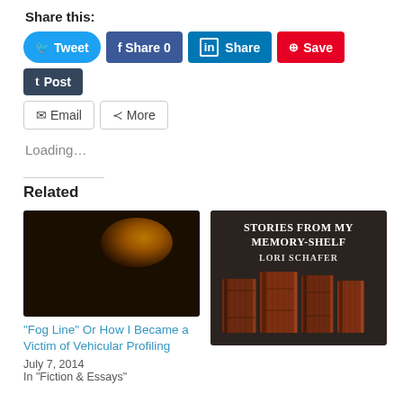Share this:
Tweet  Share 0  Share  Save  Post
Email  More
Loading…
Related
[Figure (photo): Dark photo with orange/gold light glow — thumbnail for Fog Line article]
“Fog Line” Or How I Became a Victim of Vehicular Profiling
July 7, 2014
In “Fiction & Essays”
[Figure (photo): Book cover: Stories From My Memory-Shelf by Lori Schafer, dark background with book spines]